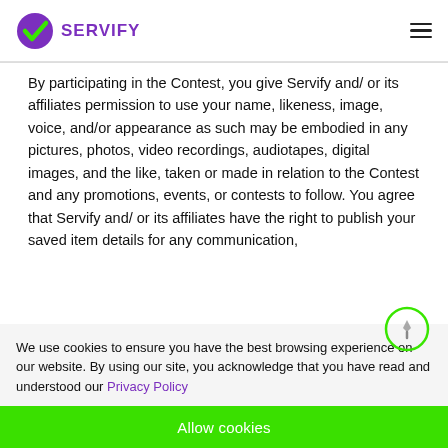[Figure (logo): Servify logo with purple checkmark icon and purple uppercase text SERVIFY, plus hamburger menu icon on the right]
By participating in the Contest, you give Servify and/or its affiliates permission to use your name, likeness, image, voice, and/or appearance as such may be embodied in any pictures, photos, video recordings, audiotapes, digital images, and the like, taken or made in relation to the Contest and any promotions, events, or contests to follow. You agree that Servify and/ or its affiliates have the right to publish your saved item details for any communication,
We use cookies to ensure you have the best browsing experience on our website. By using our site, you acknowledge that you have read and understood our Privacy Policy
Allow cookies